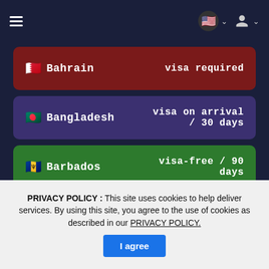Navigation bar with hamburger menu, US flag selector, and user icon
🇧🇭 Bahrain — visa required
🇧🇩 Bangladesh — visa on arrival / 30 days
🇧🇧 Barbados — visa-free / 90 days
🇧🇾 Belarus — visa required
🇧🇪 Belgium — visa-free / 90 days
PRIVACY POLICY : This site uses cookies to help deliver services. By using this site, you agree to the use of cookies as described in our PRIVACY POLICY. [I agree]